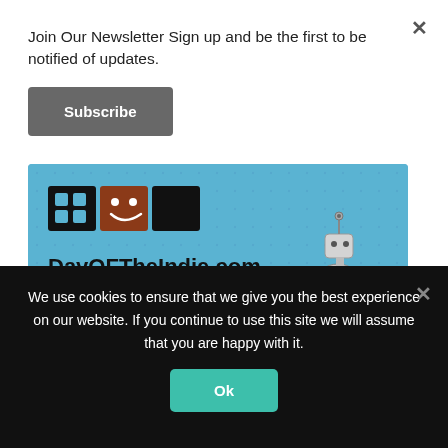Join Our Newsletter Sign up and be the first to be notified of updates.
Subscribe
[Figure (illustration): DayOfTheIndie.com banner with logo squares (black with dots, brown with smiley, black), a robot character, and the tagline 'We're all about makin', breakin', and playin' games!']
SPONSOR
We use cookies to ensure that we give you the best experience on our website. If you continue to use this site we will assume that you are happy with it.
Ok